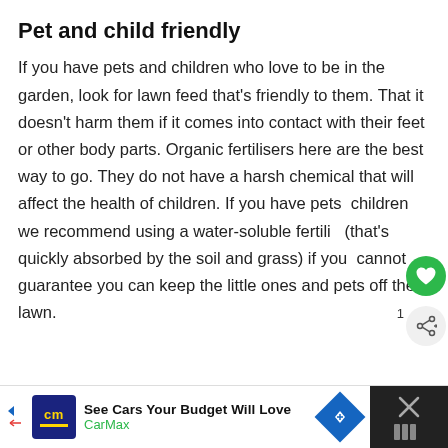Pet and child friendly
If you have pets and children who love to be in the garden, look for lawn feed that’s friendly to them. That it doesn’t harm them if it comes into contact with their feet or other body parts. Organic fertilisers here are the best way to go. They do not have a harsh chemical that will affect the health of children. If you have pets children we recommend using a water-soluble fertili (that’s quickly absorbed by the soil and grass) if you cannot guarantee you can keep the little ones and pets off the lawn.
[Figure (infographic): CarMax advertisement banner with logo, text 'See Cars Your Budget Will Love', 'CarMax' subtitle, navigation arrow icon, and close button area with X icon on dark background]